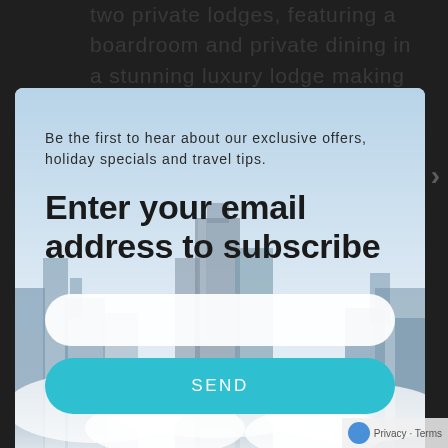two private lodges, featuring a boardroom and private dining in a stunning luxury lodge making the most of its elevated Scenic
[Figure (screenshot): Email subscription modal popup overlaid on a webpage. The modal shows a city skyline with clouds as background image, with text 'Be the first to hear about our exclusive offers, holiday specials and travel tips.' and a large heading 'Enter your email address to subscribe' with an email input field and a teal SEND button.]
venue perfect for business conferences and corporate events. Whether you want n